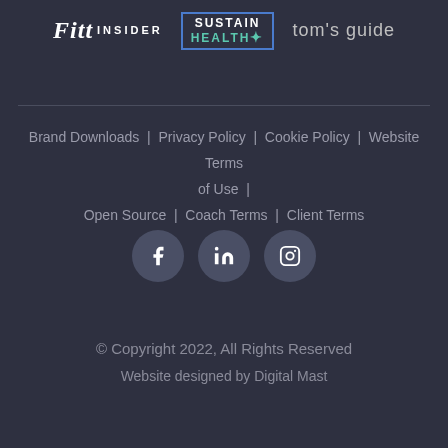[Figure (logo): Three brand logos: Fitt Insider, Sustain Health, and tom's guide]
Brand Downloads | Privacy Policy | Cookie Policy | Website Terms of Use | Open Source | Coach Terms | Client Terms
[Figure (illustration): Three social media icons in circles: Facebook, LinkedIn, Instagram]
© Copyright 2022, All Rights Reserved
Website designed by Digital Mast